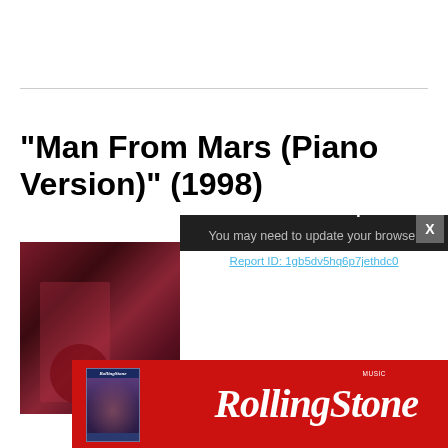“Man From Mars (Piano Version)” (1998)
[Figure (photo): Album or article image with dark red/maroon tones, partially obscured by popup dialog]
[Figure (screenshot): Browser not compatible popup dialog with dark background. Text: 'Browser not compatible', 'You may need to update your browser', 'Report ID: 1gb5dv5hq6p7jethdc0'. Close button 'X' in upper right.]
[Figure (logo): Rolling Stone magazine advertisement banner with red background, magazine cover thumbnail, and Rolling Stone wordmark in white italic text]